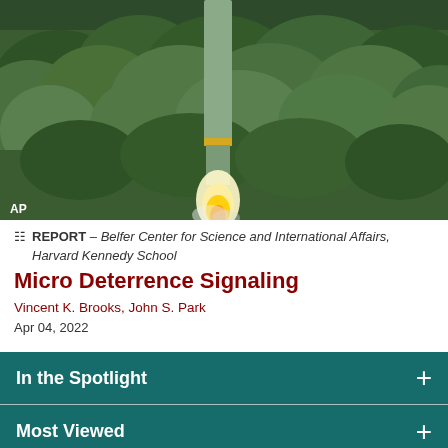[Figure (photo): Photograph of a missile launching with flames at the base, against a background of dense green forest trees. AP watermark in bottom-left corner.]
REPORT – Belfer Center for Science and International Affairs, Harvard Kennedy School
Micro Deterrence Signaling
Vincent K. Brooks, John S. Park
Apr 04, 2022
In the Spotlight
Most Viewed